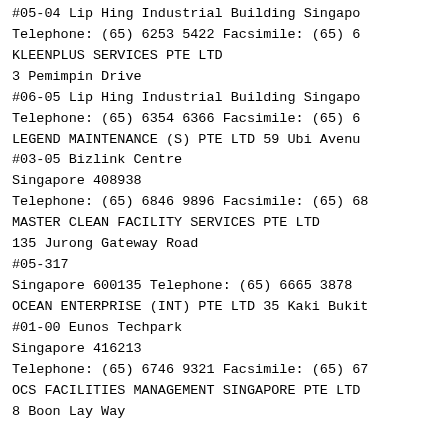#05-04 Lip Hing Industrial Building Singapore
Telephone: (65) 6253 5422 Facsimile: (65) 6...
KLEENPLUS SERVICES PTE LTD
3 Pemimpin Drive
#06-05 Lip Hing Industrial Building Singapore
Telephone: (65) 6354 6366 Facsimile: (65) 6...
LEGEND MAINTENANCE (S) PTE LTD 59 Ubi Avenue
#03-05 Bizlink Centre
Singapore 408938
Telephone: (65) 6846 9896 Facsimile: (65) 68...
MASTER CLEAN FACILITY SERVICES PTE LTD
135 Jurong Gateway Road
#05-317
Singapore 600135 Telephone: (65) 6665 3878 ...
OCEAN ENTERPRISE (INT) PTE LTD 35 Kaki Bukit
#01-00 Eunos Techpark
Singapore 416213
Telephone: (65) 6746 9321 Facsimile: (65) 67...
OCS FACILITIES MANAGEMENT SINGAPORE PTE LTD
8 Boon Lay Way